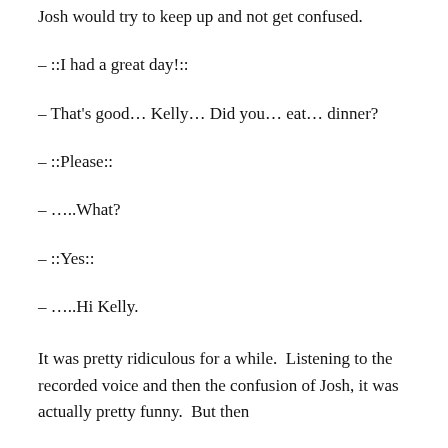Josh would try to keep up and not get confused.
– ::I had a great day!::
– That's good… Kelly… Did you… eat… dinner?
– ::Please::
– …..What?
– ::Yes::
– …..Hi Kelly.
It was pretty ridiculous for a while.  Listening to the recorded voice and then the confusion of Josh, it was actually pretty funny.  But then